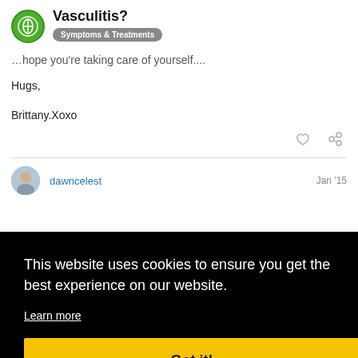Vasculitis? | Symptoms & Treatments
...hope you're taking care of yourself....
Hugs,

Brittany.Xoxo
dawncelest  Jan '15
...did a ...ghest ...l lung ...and ...our ...an ...re
This website uses cookies to ensure you get the best experience on our website. Learn more
Got it!
about you concerns of taking these meds